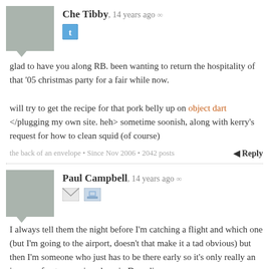Che Tibby, 14 years ago ∞
glad to have you along RB. been wanting to return the hospitality of that '05 christmas party for a fair while now.

will try to get the recipe for that pork belly up on object dart </plugging my own site. heh> sometime soonish, along with kerry's request for how to clean squid (of course)
the back of an envelope • Since Nov 2006 • 2042 posts
Reply
Paul Campbell, 14 years ago ∞
I always tell them the night before I'm catching a flight and which one (but I'm going to the airport, doesn't that make it a tad obvious) but then I'm someone who just has to be there early so it's only really an issue on frosty mornings here in Dunedin.